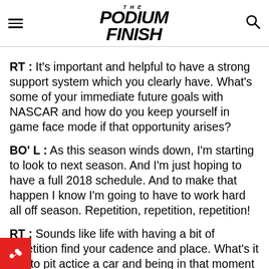THE PODIUM FINISH
RT :  It’s important and helpful to have a strong support system which you clearly have. What’s some of your immediate future goals with NASCAR and how do you keep yourself in game face mode if that opportunity arises?
BO’ L :  As this season winds down, I’m starting to look to next season. And I’m just hoping to have a full 2018 schedule. And to make that happen I know I’m going to have to work hard all off season. Repetition, repetition, repetition!
RT :  Sounds like life with having a bit of repetition find your cadence and place. What’s it like to pit actice a car and being in that moment to change